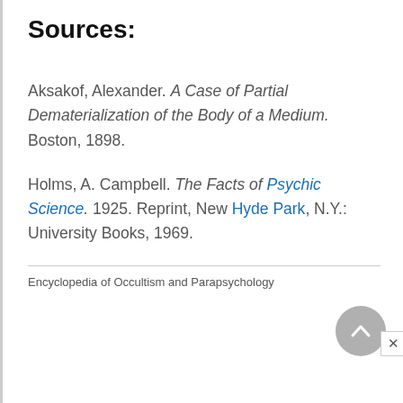Sources:
Aksakof, Alexander. A Case of Partial Dematerialization of the Body of a Medium. Boston, 1898.
Holms, A. Campbell. The Facts of Psychic Science. 1925. Reprint, New Hyde Park, N.Y.: University Books, 1969.
Encyclopedia of Occultism and Parapsychology